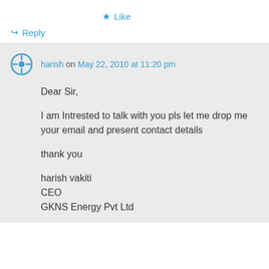★ Like
↪ Reply
harish on May 22, 2010 at 11:20 pm
Dear Sir,

I am Intrested to talk with you pls let me drop me your email and present contact details

thank you

harish vakiti
CEO
GKNS Energy Pvt Ltd